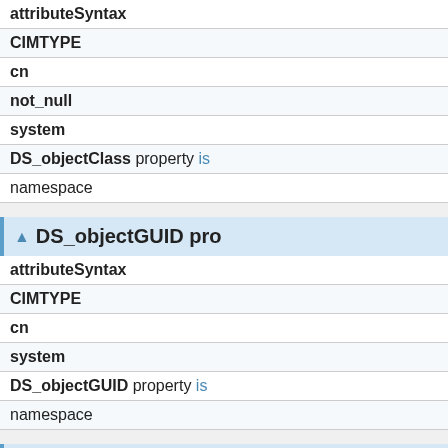| Property | Value |
| --- | --- |
| attributeSyntax |  |
| CIMTYPE |  |
| cn |  |
| not_null |  |
| system |  |
| DS_objectClass property is... | namespace |
▲ DS_objectGUID pro...
| Property | Value |
| --- | --- |
| attributeSyntax |  |
| CIMTYPE |  |
| cn |  |
| system |  |
| DS_objectGUID property is... | namespace |
▲ DS_objectVersion p...
| attributeSyntax |  |
| CIMTYPE |  |
| cn |  |